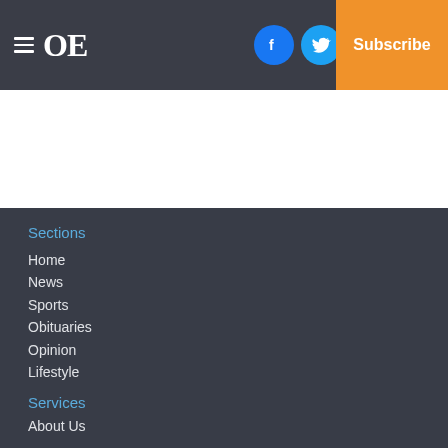OE navigation bar with hamburger menu, logo OE, Facebook, Twitter, Mail icons, Log In, Subscribe
Sections
Home
News
Sports
Obituaries
Opinion
Lifestyle
Oxford Town
Photos
Classifieds
E-Edition
Small Business
Services
About Us